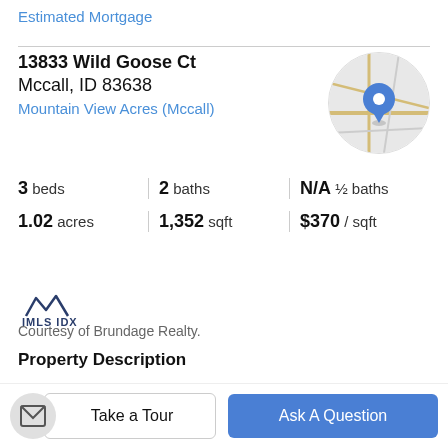Estimated Mortgage
13833 Wild Goose Ct
Mccall, ID 83638
Mountain View Acres (Mccall)
[Figure (map): Circular map thumbnail showing street map with blue location pin marker]
3 beds | 2 baths | N/A ½ baths
1.02 acres | 1,352 sqft | $370 / sqft
[Figure (logo): IMLS IDX logo with mountain silhouette icon]
Courtesy of Brundage Realty.
Property Description
Great views of Jug Mountain & West Mountain. This 3 bedroom/2 bath home has plenty of room for all the toys
Take a Tour
Ask A Question